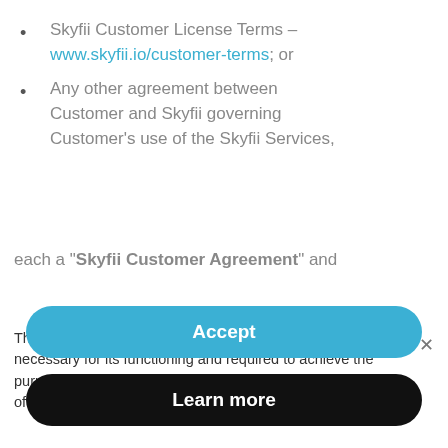Skyfii Customer License Terms – www.skyfii.io/customer-terms; or
Any other agreement between Customer and Skyfii governing Customer's use of the Skyfii Services,
each a "Skyfii Customer Agreement" and
This website or its third-party tools use cookies, which are necessary for its functioning and required to achieve the purposes illustrated in the cookie policy. You accept the use of cookies by closing or dismissing this notice.
Accept
Learn more